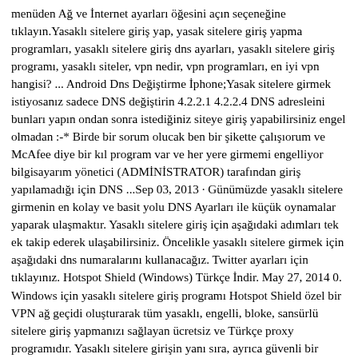menüden Ağ ve İnternet ayarları öğesini açın seçeneğine tıklayın.Yasaklı sitelere giriş yap, yasak sitelere giriş yapma programları, yasaklı sitelere giriş dns ayarları, yasaklı sitelere giriş programı, yasaklı siteler, vpn nedir, vpn programları, en iyi vpn hangisi? ... Android Dns Değiştirme İphone;Yasak sitelere girmek istiyosanız sadece DNS değiştirin 4.2.2.1 4.2.2.4 DNS adresleini bunları yapın ondan sonra istediğiniz siteye giriş yapabilirsiniz engel olmadan :-* Birde bir sorum olucak ben bir şikette çalışıorum ve McAfee diye bir kıl program var ve her yere girmemi engelliyor bilgisayarım yönetici (ADMİNİSTRATOR) tarafından giriş yapılamadığı için DNS ...Sep 03, 2013 · Günümüzde yasaklı sitelere girmenin en kolay ve basit yolu DNS Ayarları ile küçük oynamalar yaparak ulaşmaktır. Yasaklı sitelere giriş için aşağıdaki adımları tek ek takip ederek ulaşabilirsiniz. Öncelikle yasaklı sitelere girmek için aşağıdaki dns numaralarını kullanacağız. Twitter ayarları için tıklayınız. Hotspot Shield (Windows) Türkçe İndir. May 27, 2014 0. Windows için yasaklı sitelere giriş programı Hotspot Shield özel bir VPN ağ geçidi oluşturarak tüm yasaklı, engelli, bloke, sansürlü sitelere giriş yapmanızı sağlayan ücretsiz ve Türkçe proxy programıdır. Yasaklı sitelere girişin yanı sıra, ayrıca güvenli bir ...iPhone (2) Linux (1) Oyun Dünyası (1) Veritabanları (1) Son Yazılar. Internet yasakları, yasaklı sitelere giriş, VPN nedir ve VPN kullanımı; Varnish kurulumu ve yükdağılımı yapmak (Load Balancing) Death Is The Destination We All Share; Jeanswelove.com Online ! Dövizci Çok